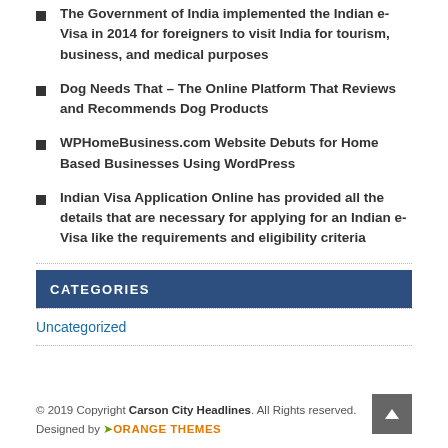The Government of India implemented the Indian e-Visa in 2014 for foreigners to visit India for tourism, business, and medical purposes
Dog Needs That – The Online Platform That Reviews and Recommends Dog Products
WPHomeBusiness.com Website Debuts for Home Based Businesses Using WordPress
Indian Visa Application Online has provided all the details that are necessary for applying for an Indian e-Visa like the requirements and eligibility criteria
CATEGORIES
Uncategorized
© 2019 Copyright Carson City Headlines. All Rights reserved. Designed by ORANGE THEMES